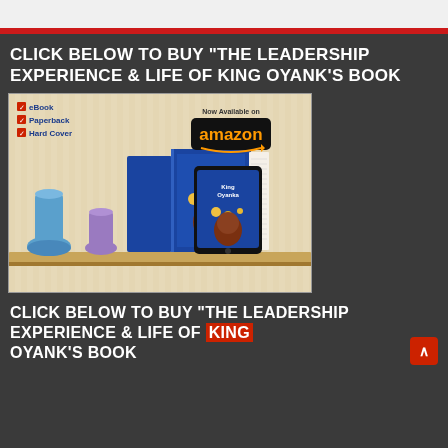CLICK BELOW TO BUY “THE LEADERSHIP EXPERIENCE & LIFE OF KING OYANK’S BOOK
[Figure (illustration): Book cover and tablet display for King Oyanka book, with Amazon badge and eBook/Paperback/Hard Cover options listed]
CLICK BELOW TO BUY “THE LEADERSHIP EXPERIENCE & LIFE OF KING OYANK’S BOOK